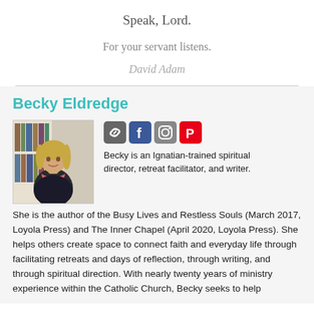Speak, Lord.
For your servant listens.
David Adam
Becky Eldredge
[Figure (photo): Headshot photo of Becky Eldredge, a woman with blonde hair wearing a dark jacket and pink/red scarf, standing in front of bookshelves.]
Becky is an Ignatian-trained spiritual director, retreat facilitator, and writer. She is the author of the Busy Lives and Restless Souls (March 2017, Loyola Press) and The Inner Chapel (April 2020, Loyola Press). She helps others create space to connect faith and everyday life through facilitating retreats and days of reflection, through writing, and through spiritual direction. With nearly twenty years of ministry experience within the Catholic Church, Becky seeks to help